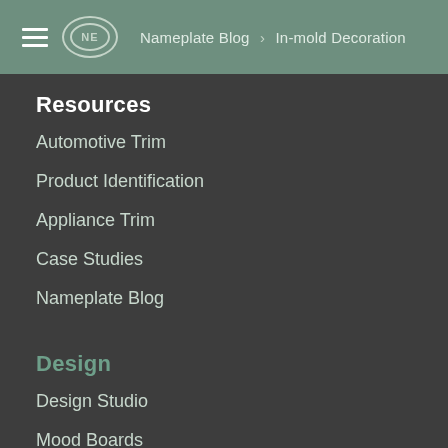NE | Nameplate Blog › In-mold Decoration
Resources
Automotive Trim
Product Identification
Appliance Trim
Case Studies
Nameplate Blog
Design
Design Studio
Mood Boards
Surface Collections
Design Blog